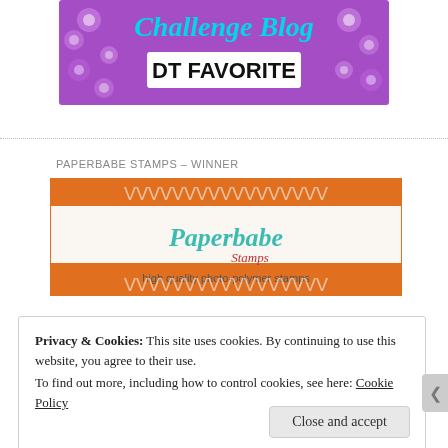[Figure (logo): Challenge Blog DT FAVORITE banner with purple floral background and teal/cyan italic title text]
PAPERBABE STAMPS – WINNER
[Figure (logo): Paperbabe Stamps logo banner with orange chevron/arrow pattern borders and script logo text, tagline: high quality photo-polymer stamps]
Privacy & Cookies: This site uses cookies. By continuing to use this website, you agree to their use.
To find out more, including how to control cookies, see here: Cookie Policy
Close and accept